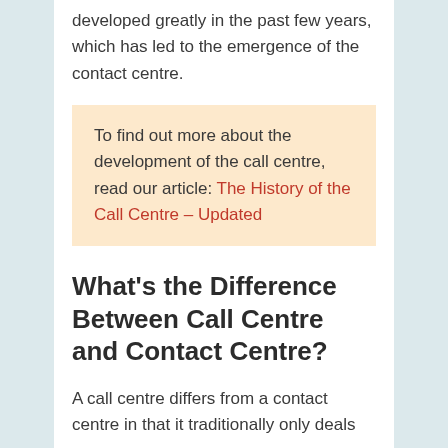developed greatly in the past few years, which has led to the emergence of the contact centre.
To find out more about the development of the call centre, read our article: The History of the Call Centre – Updated
What's the Difference Between Call Centre and Contact Centre?
A call centre differs from a contact centre in that it traditionally only deals